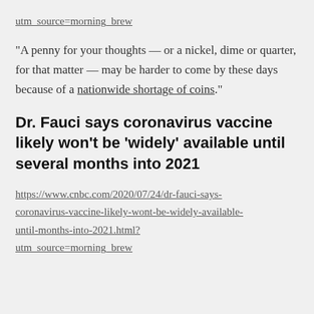utm_source=morning_brew
“A penny for your thoughts — or a nickel, dime or quarter, for that matter — may be harder to come by these days because of a nationwide shortage of coins.”
Dr. Fauci says coronavirus vaccine likely won’t be ‘widely’ available until several months into 2021
https://www.cnbc.com/2020/07/24/dr-fauci-says-coronavirus-vaccine-likely-wont-be-widely-available-until-months-into-2021.html?utm_source=morning_brew